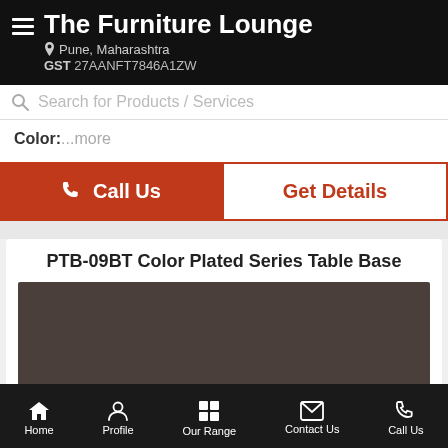The Furniture Lounge — Pune, Maharashtra — GST 27AANFT7846A1ZW
Search for Products / Services
Color: ...more
Call Us
Get Details
PTB-09BT Color Plated Series Table Base
[Figure (photo): Product photo placeholder — dark brownish-gray rectangle representing a table base product image]
Home | Profile | Our Range | Contact Us | Call Us